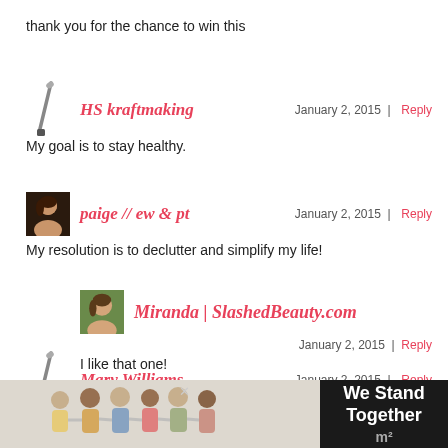thank you for the chance to win this
HS kraftmaking
January 2, 2015 | Reply
My goal is to stay healthy.
paige // ew & pt
January 2, 2015 | Reply
My resolution is to declutter and simplify my life!
Miranda | SlashedBeauty.com
January 2, 2015 | Reply
I like that one!
Mary Williams
January 2, 2015 | Reply
One of my resolutions is to get fit
[Figure (photo): Advertisement banner: We Stand Together]
We Stand Together